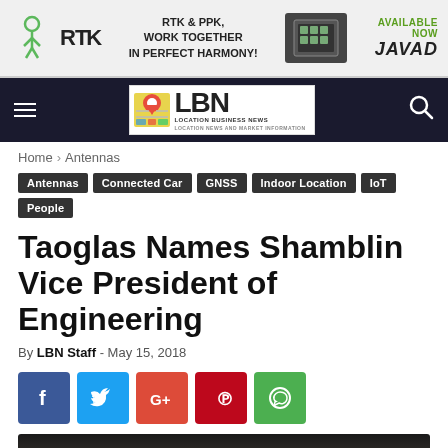[Figure (other): RTK & PPK advertisement banner for JAVAD with logo and device image. Text reads: RTK & PPK, Work Together In Perfect Harmony! Available Now JAVAD]
[Figure (logo): Location Business News (LBN) navigation bar with hamburger menu, LBN logo in center, and search icon on right]
Home › Antennas
Antennas
Connected Car
GNSS
Indoor Location
IoT
People
Taoglas Names Shamblin Vice President of Engineering
By LBN Staff - May 15, 2018
[Figure (other): Social sharing buttons: Facebook (blue), Twitter (light blue), Google+ (red-orange), Pinterest (red), WhatsApp (green)]
[Figure (photo): Partial photo of a person, dark background, head visible at bottom of page]